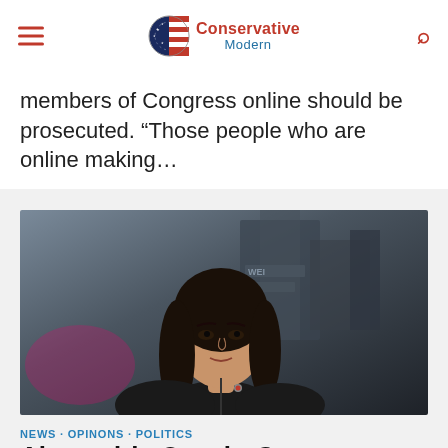Conservative Modern
members of Congress online should be prosecuted. “Those people who are online making…
[Figure (photo): Portrait photo of Alexandria Ocasio-Cortez seated, wearing a black top, with a blurred background showing a building and text.]
NEWS · OPINONS · POLITICS
Alexandria Ocasio-Cortez